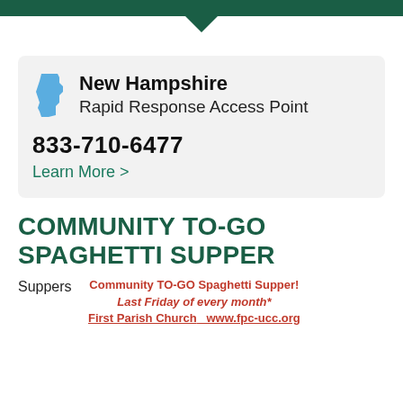[Figure (infographic): New Hampshire Rapid Response Access Point card with NH state silhouette icon, phone number 833-710-6477, and Learn More link]
COMMUNITY TO-GO SPAGHETTI SUPPER
Suppers   Community TO-GO Spaghetti Supper! Last Friday of every month* First Parish Church   www.fpc-ucc.org